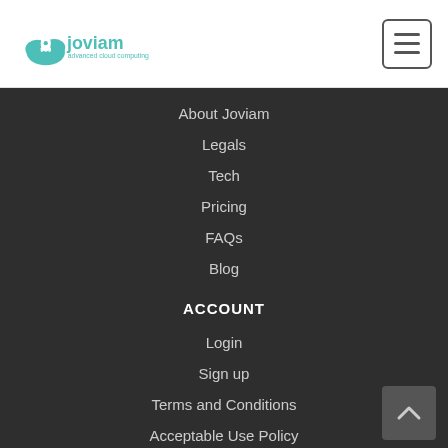Joviam advanced cloud computing
About Joviam
Legals
Tech
Pricing
FAQs
Blog
ACCOUNT
Login
Sign up
Terms and Conditions
Acceptable Use Policy
SUPPORT